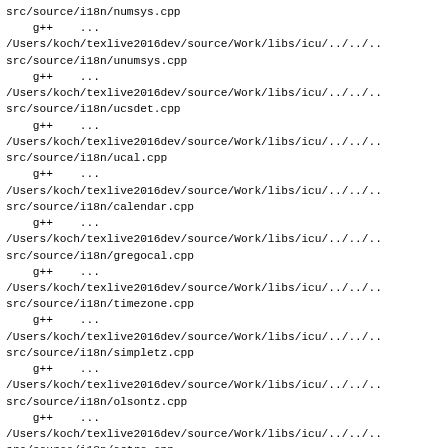src/source/i18n/numsys.cpp
    g++    ...
/Users/koch/texlive2016dev/source/Work/libs/icu/../../...
src/source/i18n/unumsys.cpp
    g++    ...
/Users/koch/texlive2016dev/source/Work/libs/icu/../../...
src/source/i18n/ucsdet.cpp
    g++    ...
/Users/koch/texlive2016dev/source/Work/libs/icu/../../...
src/source/i18n/ucal.cpp
    g++    ...
/Users/koch/texlive2016dev/source/Work/libs/icu/../../...
src/source/i18n/calendar.cpp
    g++    ...
/Users/koch/texlive2016dev/source/Work/libs/icu/../../...
src/source/i18n/gregocal.cpp
    g++    ...
/Users/koch/texlive2016dev/source/Work/libs/icu/../../...
src/source/i18n/timezone.cpp
    g++    ...
/Users/koch/texlive2016dev/source/Work/libs/icu/../../...
src/source/i18n/simpletz.cpp
    g++    ...
/Users/koch/texlive2016dev/source/Work/libs/icu/../../...
src/source/i18n/olsontz.cpp
    g++    ...
/Users/koch/texlive2016dev/source/Work/libs/icu/../../...
src/source/i18n/astro.cpp
    g++    ...
/Users/koch/texlive2016dev/source/Work/libs/icu/../../...